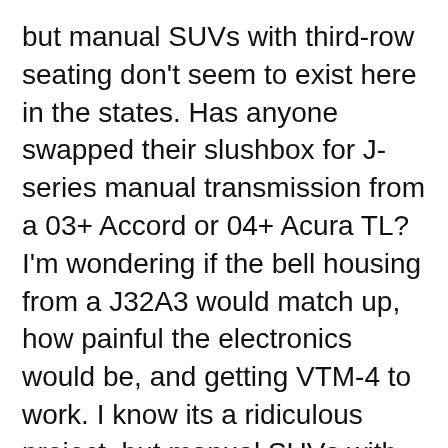but manual SUVs with third-row seating don't seem to exist here in the states. Has anyone swapped their slushbox for J-series manual transmission from a 03+ Accord or 04+ Acura TL? I'm wondering if the bell housing from a J32A3 would match up, how painful the electronics would be, and getting VTM-4 to work. I know its a ridiculous project, but manual SUVs with third-row seating don't seem to exist here in the states.
Has anyone swapped their slushbox for J-series manual transmission from a 03+ Accord or 04+ Acura TL? I'm wondering if the bell housing from a J32A3 would match up, how painful the electronics would be, and getting VTM-4